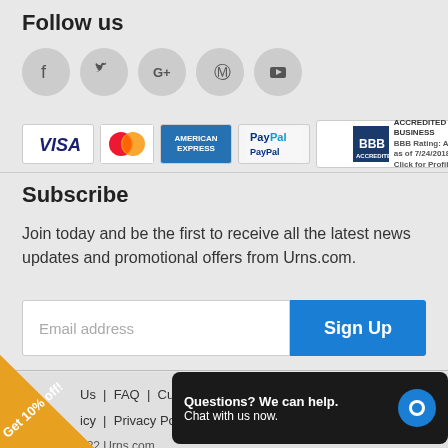Follow us
[Figure (infographic): Social media icons: Facebook, Twitter, Google+, Pinterest, YouTube as circular grey buttons]
[Figure (infographic): Payment badges: VISA, MasterCard, American Express, PayPal, BBB Accredited Business (BBB Rating: A+ as of 7/24/2018, Click for Profile)]
Subscribe
Join today and be the first to receive all the latest news updates and promotional offers from Urns.com.
Email address
Sign Up
Us | FAQ | Customer Service | icy | Privacy Policy | Cont | 022 Urns.com.
[Figure (infographic): Orange triangle badge with text 'Get 10% off!' with arrow]
[Figure (infographic): Chat widget: Questions? We can help. Chat with us now. with blue chat icon]